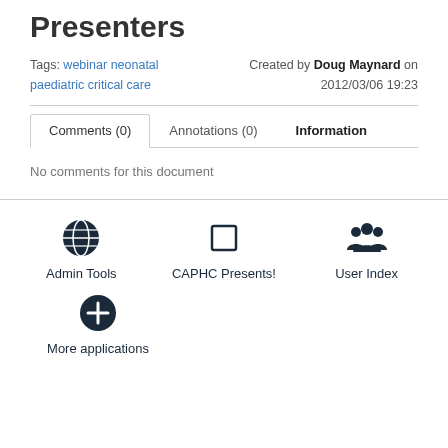Presenters
Tags: webinar neonatal paediatric critical care
Created by Doug Maynard on 2012/03/06 19:23
Comments (0)   Annotations (0)   Information
No comments for this document
[Figure (infographic): Three icon links: Admin Tools (globe icon), CAPHC Presents! (square icon), User Index (group of people icon)]
[Figure (infographic): More applications icon link with a plus circle icon]